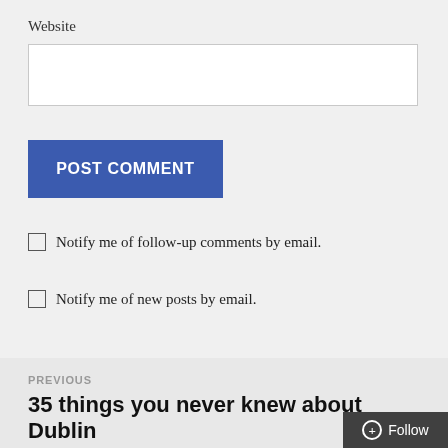Website
POST COMMENT
Notify me of follow-up comments by email.
Notify me of new posts by email.
PREVIOUS
35 things you never knew about Dublin
Follow